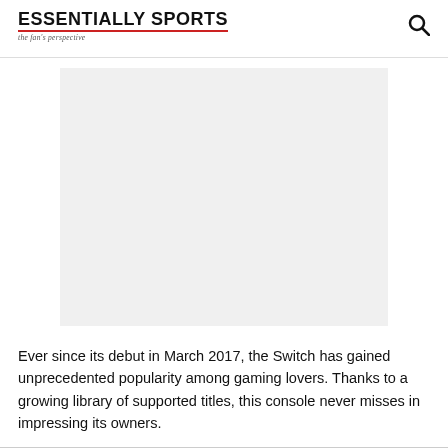ESSENTIALLY SPORTS — the fan's perspective
[Figure (photo): Large image placeholder with light gray background, likely a photo of Nintendo Switch console]
Ever since its debut in March 2017, the Switch has gained unprecedented popularity among gaming lovers. Thanks to a growing library of supported titles, this console never misses in impressing its owners.